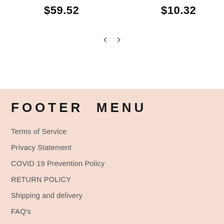$59.52
$10.32
[Figure (other): Navigation arrows: left chevron < and right chevron >]
FOOTER MENU
Terms of Service
Privacy Statement
COVID 19 Prevention Policy
RETURN POLICY
Shipping and delivery
FAQ's
Buy in bulk